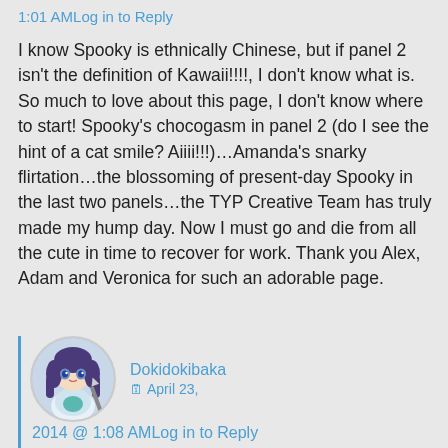1:01 AMLog in to Reply
I know Spooky is ethnically Chinese, but if panel 2 isn't the definition of Kawaii!!!!, I don't know what is. So much to love about this page, I don't know where to start! Spooky's chocogasm in panel 2 (do I see the hint of a cat smile? Aiiii!!!)…Amanda's snarky flirtation…the blossoming of present-day Spooky in the last two panels…the TYP Creative Team has truly made my hump day. Now I must go and die from all the cute in time to recover for work. Thank you Alex, Adam and Veronica for such an adorable page.
[Figure (illustration): Circular avatar of anime-style character with dark purple hair, wearing white outfit, holding a weapon]
Dokidokibaka   April 23, 2014 @ 1:08 AMLog in to Reply